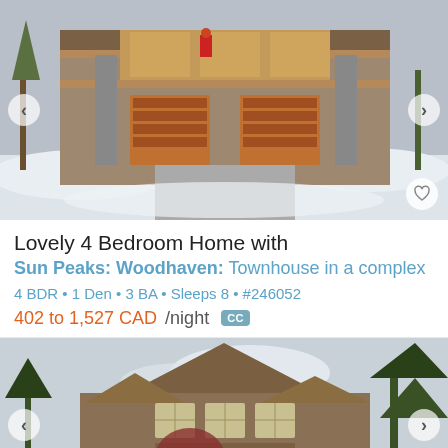[Figure (photo): Exterior of a large chalet-style home in winter with snow, wooden garage doors, stone pillars, and a person in red jacket visible on upper balcony]
Lovely 4 Bedroom Home with
Sun Peaks: Woodhaven: Townhouse in a complex
4 BDR • 1 Den • 3 BA • Sleeps 8 • #246052
402 to 1,527 CAD/night  CC
[Figure (photo): Exterior of a large timber-frame mountain home with multiple gabled roofs, surrounded by evergreen trees, viewed from front]